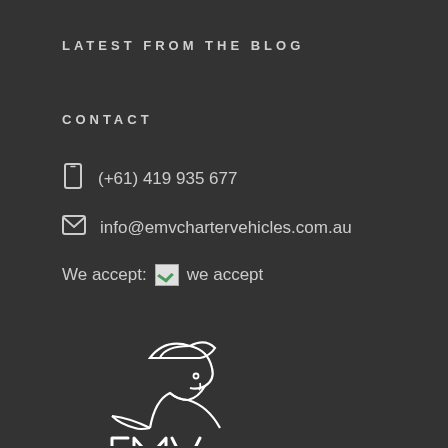LATEST FROM THE BLOG
CONTACT
(+61) 419 935 677
info@emvchartervehicles.com.au
We accept: we accept
[Figure (logo): EMV Charter Vehicles logo — outline drawing of a chauffeur figure with cap and the letters E M V below]